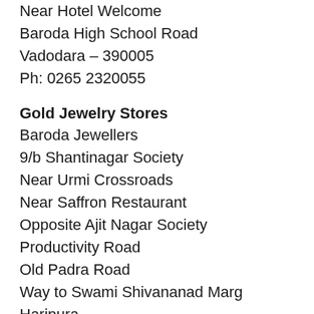Near Hotel Welcome
Baroda High School Road
Vadodara – 390005
Ph: 0265 2320055
Gold Jewelry Stores
Baroda Jewellers
9/b Shantinagar Society
Near Urmi Crossroads
Near Saffron Restaurant
Opposite Ajit Nagar Society
Productivity Road
Old Padra Road
Way to Swami Shivananad Marg
Haripura
Vadodara – 390007
Ph: 09825959263